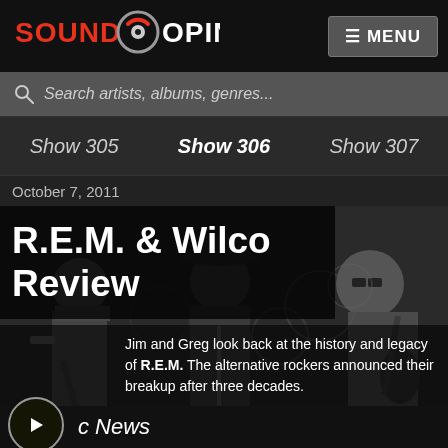SOUND OPINIONS
MENU
Search artists, albums, genres...
Show 305   Show 306   Show 307
October 7, 2011
R.E.M. & Wilco Review
[Figure (photo): Black and white photo collage of rock musicians performing on stage]
Jim and Greg look back at the history and legacy of R.E.M. The alternative rockers announced their breakup after three decades.
c News